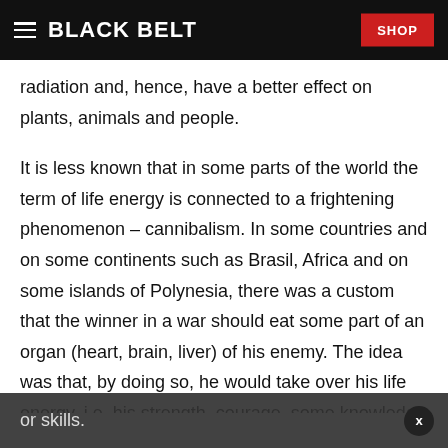BLACK BELT | SHOP
radiation and, hence, have a better effect on plants, animals and people.
It is less known that in some parts of the world the term of life energy is connected to a frightening phenomenon – cannibalism. In some countries and on some continents such as Brasil, Africa and on some islands of Polynesia, there was a custom that the winner in a war should eat some part of an organ (heart, brain, liver) of his enemy. The idea was that, by doing so, he would take over his life energy, i.e. his strength, courage, some knowledge or skills.